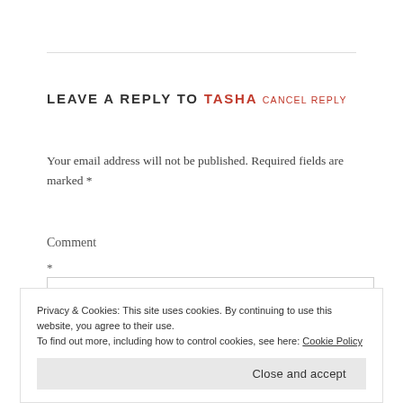LEAVE A REPLY TO TASHA CANCEL REPLY
Your email address will not be published. Required fields are marked *
Comment
*
Privacy & Cookies: This site uses cookies. By continuing to use this website, you agree to their use.
To find out more, including how to control cookies, see here: Cookie Policy